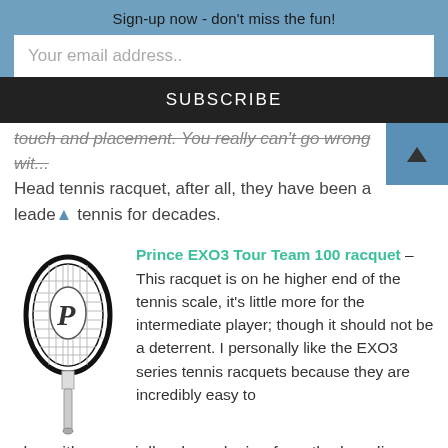Sign-up now - don't miss the fun!
Your email address..
SUBSCRIBE
touch and placement. You really can't go wrong with a Head tennis racquet, after all, they have been a leader in tennis for decades.
[Figure (illustration): Tennis racquet illustration - Prince brand racquet with white head and black strings]
Prince EXO3 Tour Team 100 racquet – This racquet is on he higher end of the tennis scale, it's little more for the intermediate player; though it should not be a deterrent. I personally like the EXO3 series tennis racquets because they are incredibly easy to play with, especially when playing from the baseline. The Tour Team is incredibly easy to work with from any spot on the court, baseline rallies are powerful and controlled, and hitting volley's are precise with touch. This racquet